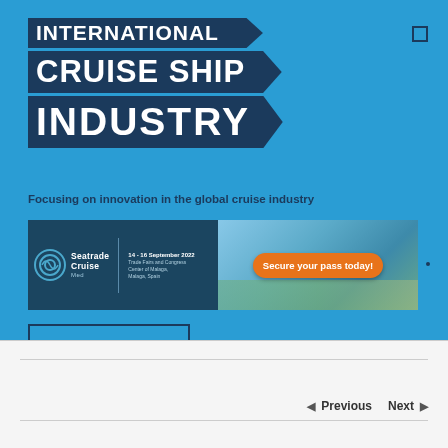INTERNATIONAL CRUISE SHIP INDUSTRY
Focusing on innovation in the global cruise industry
[Figure (infographic): Seatrade Cruise Med advertisement banner. Text: Seatrade Cruise Med | 14-16 September 2022 | Trade Fairs and Congress Center of Malaga, Malaga, Spain | Secure your pass today!]
[Figure (logo): innovations REPORT logo in a rectangular border box]
Previous  Next